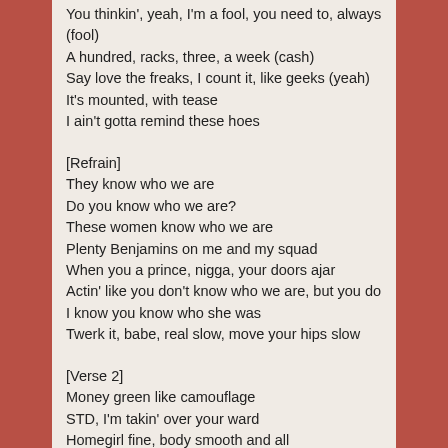You thinkin', yeah, I'm a fool, you need to, always (fool)
A hundred, racks, three, a week (cash)
Say love the freaks, I count it, like geeks (yeah)
It's mounted, with tease
I ain't gotta remind these hoes
[Refrain]
They know who we are
Do you know who we are?
These women know who we are
Plenty Benjamins on me and my squad
When you a prince, nigga, your doors ajar
Actin' like you don't know who we are, but you do
I know you know who she was
Twerk it, babe, real slow, move your hips slow
[Verse 2]
Money green like camouflage
STD, I'm takin' over your ward
Homegirl fine, body smooth and all
Planned on havin' more kids than God, damn
I draped up her closet, now she look like a Barbie
Now my drinks are clean, I fill 'em up with that oil